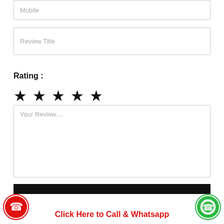Mobile
Review Title
Rating :
[Figure (other): Five filled black star icons representing a 5-star rating]
Your Review....
Send your message
Click Here to Call & Whatsapp